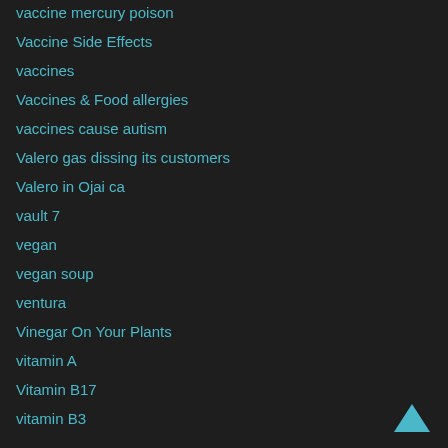vaccine mercury poison
Vaccine Side Effects
vaccines
Vaccines & Food allergies
vaccines cause autism
Valero gas dissing its customers
Valero in Ojai ca
vault 7
vegan
vegan soup
ventura
Vinegar On Your Plants
vitamin A
Vitamin B17
vitamin B3